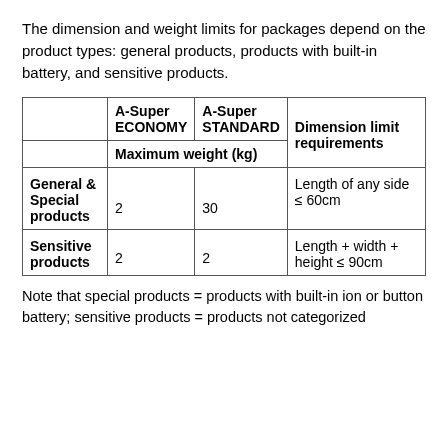The dimension and weight limits for packages depend on the product types: general products, products with built-in battery, and sensitive products.
|  | A-Super ECONOMY
Maximum weight (kg) | A-Super STANDARD
Maximum weight (kg) | Dimension limit requirements |
| --- | --- | --- | --- |
| General & Special products | 2 | 30 | Length of any side ≤ 60cm |
| Sensitive products | 2 | 2 | Length + width + height ≤ 90cm |
Note that special products = products with built-in ion or button battery; sensitive products = products not categorized